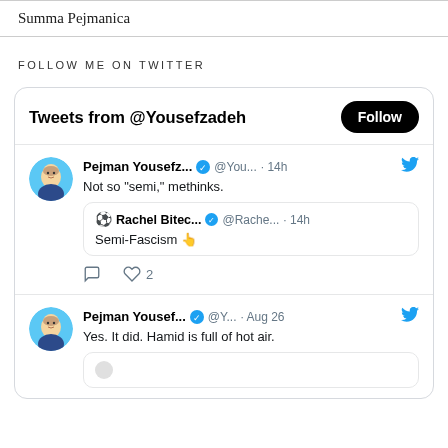Summa Pejmanica
FOLLOW ME ON TWITTER
[Figure (screenshot): Twitter widget showing tweets from @Yousefzadeh with a Follow button. First tweet by Pejman Yousefz... @You... 14h: 'Not so "semi," methinks.' with quoted tweet from Rachel Bitec... @Rache... 14h: 'Semi-Fascism 👆'. Actions show 0 comments and 2 likes. Second tweet by Pejman Yousef... @Y... Aug 26: 'Yes. It did. Hamid is full of hot air.' with beginning of another quoted tweet.]